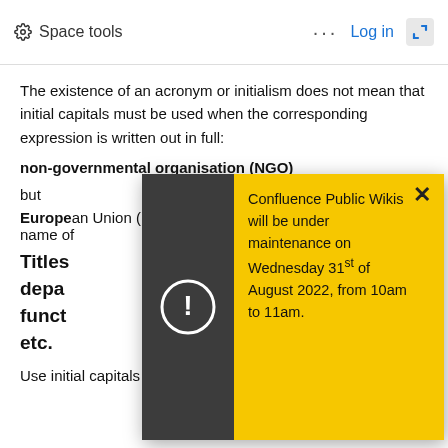Space tools  ···  Log in
The existence of an acronym or initialism does not mean that initial capitals must be used when the corresponding expression is written out in full:
non-governmental organisation (NGO)
but
European Union (EU) – the name of the official name of...
Titles of officials, departments, functions, etc.
[Figure (screenshot): Yellow modal notification box with dark grey left panel containing a warning circle icon (!), and yellow right panel with close X button and text: 'Confluence Public Wikis will be under maintenance on Wednesday 31st of August 2022, from 10am to 11am.']
Use initial capitals on all nouns and adjectives when